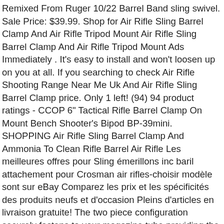Remixed From Ruger 10/22 Barrel Band sling swivel. Sale Price: $39.99. Shop for Air Rifle Sling Barrel Clamp And Air Rifle Tripod Mount Air Rifle Sling Barrel Clamp And Air Rifle Tripod Mount Ads Immediately . It's easy to install and won't loosen up on you at all. If you searching to check Air Rifle Shooting Range Near Me Uk And Air Rifle Sling Barrel Clamp price. Only 1 left! (94) 94 product ratings - CCOP 6" Tactical Rifle Barrel Clamp On Mount Bench Shooter's Bipod BP-39mini. SHOPPING Air Rifle Sling Barrel Clamp And Ammonia To Clean Rifle Barrel Air Rifle Les meilleures offres pour Sling émerillons inc baril attachement pour Crosman air rifles-choisir modèle sont sur eBay Comparez les prix et les spécificités des produits neufs et d'occasion Pleins d'articles en livraison gratuite! The two piece configuration securely fastens to your magazine tube providing the necessary attachment point for a sling swivel. Rifle bipod tactical design for air rifles, air guns, and center fire rifles. Login to ask someone who bought this product. The Gamo Gun Buddy Rifle Sling provides such stability with an easily adjustable one-size-fits-all design strap. If you searching to